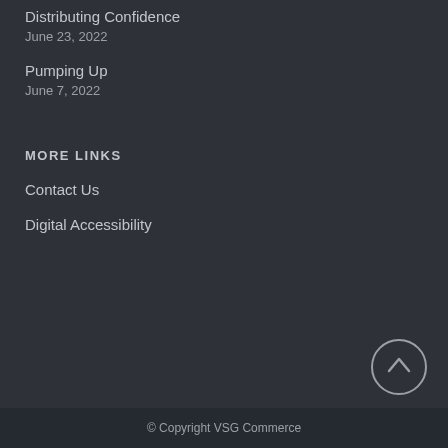Distributing Confidence
June 23, 2022
Pumping Up
June 7, 2022
MORE LINKS
Contact Us
Digital Accessibility
© Copyright VSG Commerce